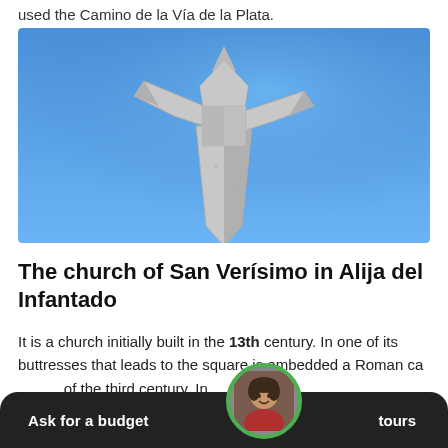used the Camino de la Vía de la Plata.
[Figure (photo): A silver metallic waymarker cross/arrow symbol against a clear blue sky, typical of Camino de Santiago route markers.]
The church of San Verísimo in Alija del Infantado
It is a church initially built in the 13th century. In one of its buttresses that leads to the square is embedded a Roman ca of the third century. In
Ask for a budget   tours